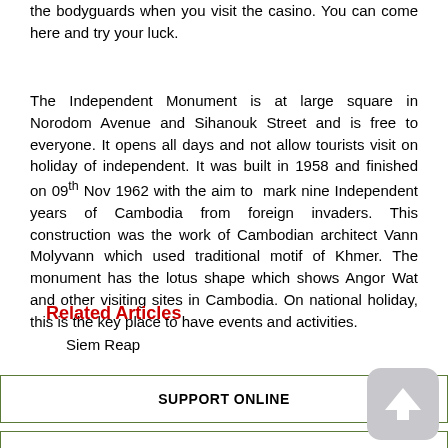the bodyguards when you visit the casino. You can come here and try your luck.
The Independent Monument is at large square in Norodom Avenue and Sihanouk Street and is free to everyone. It opens all days and not allow tourists visit on holiday of independent. It was built in 1958 and finished on 09th Nov 1962 with the aim to mark nine Independent years of Cambodia from foreign invaders. This construction was the work of Cambodian architect Vann Molyvann which used traditional motif of Khmer. The monument has the lotus shape which shows Angor Wat and other visiting sites in Cambodia. On national holiday, this is the key place to have events and activities.
Related Articles
Siem Reap
SUPPORT ONLINE
POPULAR ITINERARIES
BEST SELLING